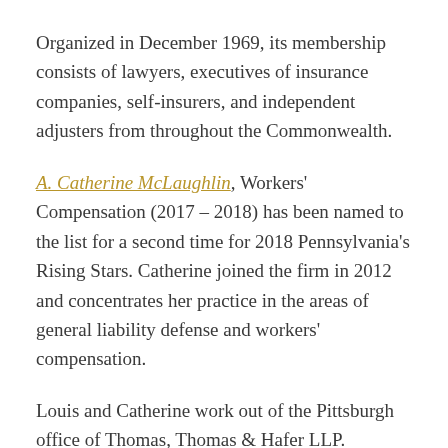Organized in December 1969, its membership consists of lawyers, executives of insurance companies, self-insurers, and independent adjusters from throughout the Commonwealth.
A. Catherine McLaughlin, Workers' Compensation (2017 – 2018) has been named to the list for a second time for 2018 Pennsylvania's Rising Stars. Catherine joined the firm in 2012 and concentrates her practice in the areas of general liability defense and workers' compensation.
Louis and Catherine work out of the Pittsburgh office of Thomas, Thomas & Hafer LLP.
The list will appear in Pennsylvania's Super Lawyers Magazine, May 2018 issue, and the attorney directory on